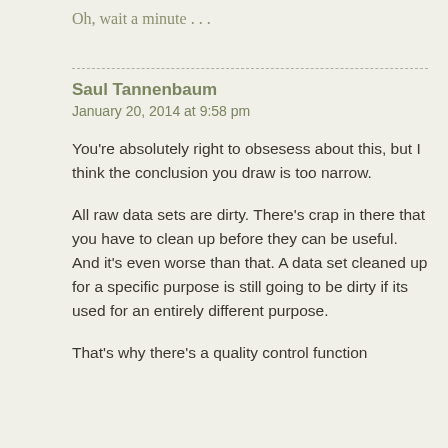Oh, wait a minute . . .
Saul Tannenbaum
January 20, 2014 at 9:58 pm
You're absolutely right to obsesess about this, but I think the conclusion you draw is too narrow.
All raw data sets are dirty. There's crap in there that you have to clean up before they can be useful. And it's even worse than that. A data set cleaned up for a specific purpose is still going to be dirty if its used for an entirely different purpose.
That's why there's a quality control function